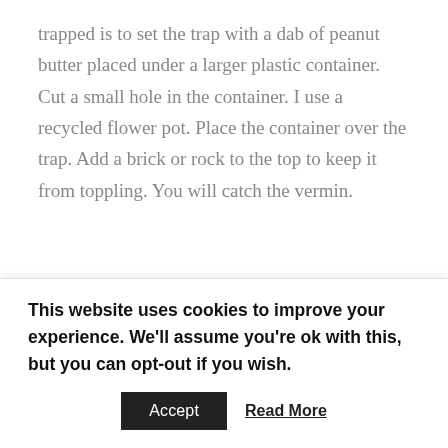trapped is to set the trap with a dab of peanut butter placed under a larger plastic container. Cut a small hole in the container. I use a recycled flower pot. Place the container over the trap. Add a brick or rock to the top to keep it from toppling. You will catch the vermin.
â« Raccoons: Follow all the instructions above. Add netting to ponds where raccoons will fish.
For unwanted animals, donât use poisons as they
This website uses cookies to improve your experience. We'll assume you're ok with this, but you can opt-out if you wish.